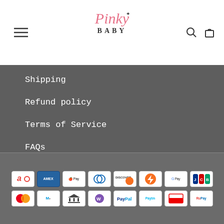Pinky Baby
Shipping
Refund policy
Terms of Service
FAQs
© PINKY BABY®
[Figure (other): Payment method icons: Airtel, American Express, Apple Pay, Diners Club, Discover, Flash Pay, Google Pay, JCB, Mastercard, Maestro, Bank Transfer, WooCommerce, PayPal, Paytm, unknown, RuPay]